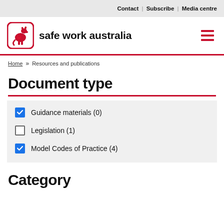Contact | Subscribe | Media centre
[Figure (logo): Safe Work Australia logo — kangaroo icon in red rounded square with text 'safe work australia']
Home » Resources and publications
Document type
Guidance materials (0)
Legislation (1)
Model Codes of Practice (4)
Category